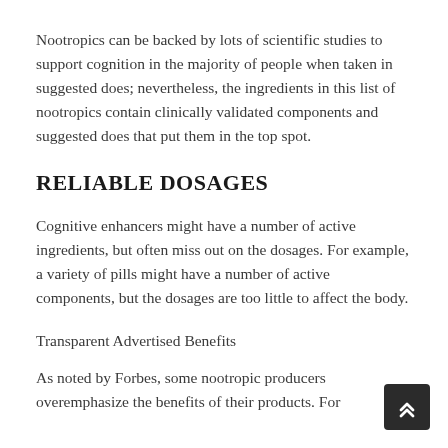Nootropics can be backed by lots of scientific studies to support cognition in the majority of people when taken in suggested does; nevertheless, the ingredients in this list of nootropics contain clinically validated components and suggested does that put them in the top spot.
RELIABLE DOSAGES
Cognitive enhancers might have a number of active ingredients, but often miss out on the dosages. For example, a variety of pills might have a number of active components, but the dosages are too little to affect the body.
Transparent Advertised Benefits
As noted by Forbes, some nootropic producers overemphasize the benefits of their products. For